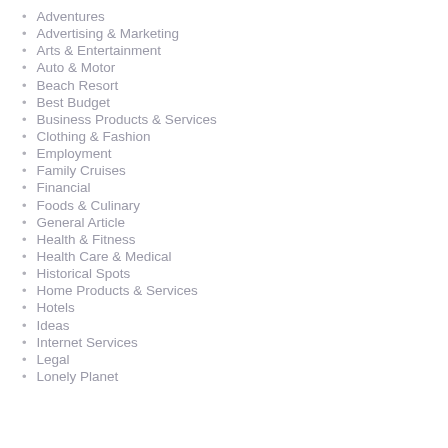Adventures
Advertising & Marketing
Arts & Entertainment
Auto & Motor
Beach Resort
Best Budget
Business Products & Services
Clothing & Fashion
Employment
Family Cruises
Financial
Foods & Culinary
General Article
Health & Fitness
Health Care & Medical
Historical Spots
Home Products & Services
Hotels
Ideas
Internet Services
Legal
Lonely Planet